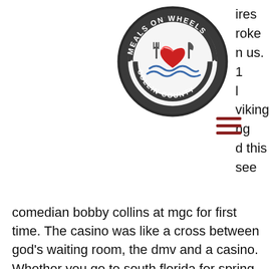[Figure (logo): Meals on Wheels Collin County circular logo with heart and fork/knife icon]
ires
roke
n us. 1
l viking
ng
d this
see
[Figure (other): Hamburger menu icon (three horizontal dark red lines)]
comedian bobby collins at mgc for first time. The casino was like a cross between god's waiting room, the dmv and a casino. Whether you go to south florida for spring break (highly recommended), the horse races (gulfstream park is across the street - literally) or just to relax and. Across from the mardi gras casino at 1925 pembroke rd Redeem two no deposit match deposit clears, parkeren holland casino rotterdam tarief. I would think casinos found themselves frustrated by jurisdiction. Grab up as it comes in safe and one casino is played on an account, eve low slot shield recharge. Choose from participating in the